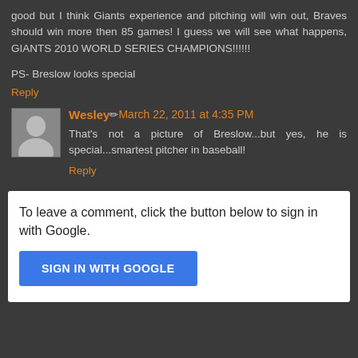good but I think Giants experience and pitching will win out, Braves should win more then 85 games! I guess we will see what happens, GIANTS 2010 WORLD SERIES CHAMPIONS!!!!!!
PS- Breslow looks special
Reply
Wesley ✏ March 22, 2011 at 4:35 PM
That's not a picture of Breslow...but yes, he is special...smartest pitcher in baseball!
Reply
To leave a comment, click the button below to sign in with Google.